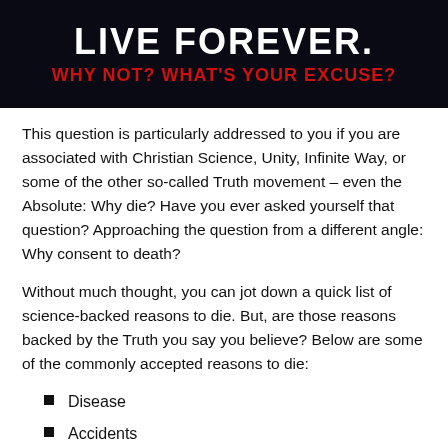[Figure (illustration): Dark starfield banner with white bold text 'LIVE FOREVER.' and red subtitle 'WHY NOT? WHAT'S YOUR EXCUSE?']
This question is particularly addressed to you if you are associated with Christian Science, Unity, Infinite Way, or some of the other so-called Truth movement – even the Absolute: Why die? Have you ever asked yourself that question? Approaching the question from a different angle: Why consent to death?
Without much thought, you can jot down a quick list of science-backed reasons to die. But, are those reasons backed by the Truth you say you believe? Below are some of the commonly accepted reasons to die:
Disease
Accidents